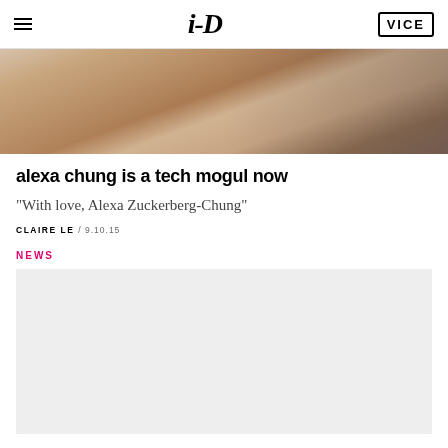i-D / VICE
[Figure (photo): Partial view of a woman in a blue dress sitting on a brown leather couch, shot from above/side]
alexa chung is a tech mogul now
"With love, Alexa Zuckerberg-Chung"
CLAIRE LE / 9.10.15
NEWS
[Figure (other): Gray advertisement placeholder box]